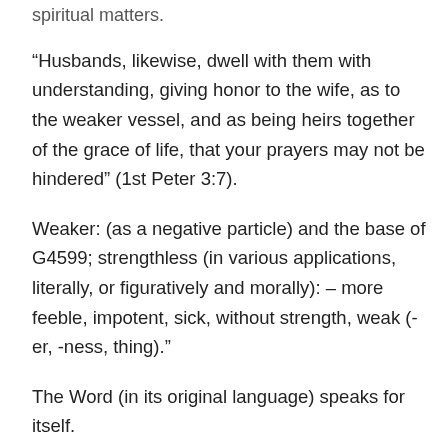spiritual matters.
“Husbands, likewise, dwell with them with understanding, giving honor to the wife, as to the weaker vessel, and as being heirs together of the grace of life, that your prayers may not be hindered” (1st Peter 3:7).
Weaker: (as a negative particle) and the base of G4599; strengthless (in various applications, literally, or figuratively and morally): – more feeble, impotent, sick, without strength, weak (-er, -ness, thing).”
The Word (in its original language) speaks for itself.
Wonder want Jesus meant when he referred to